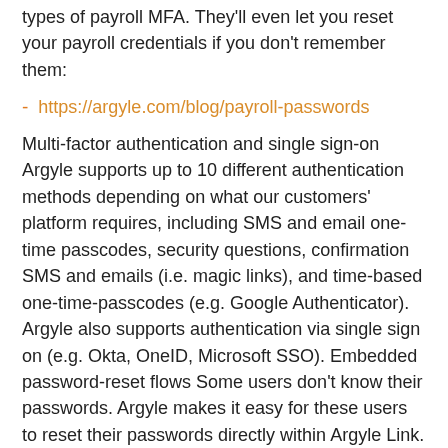types of payroll MFA. They'll even let you reset your payroll credentials if you don't remember them:
- https://argyle.com/blog/payroll-passwords
Multi-factor authentication and single sign-on Argyle supports up to 10 different authentication methods depending on what our customers' platform requires, including SMS and email one-time passcodes, security questions, confirmation SMS and emails (i.e. magic links), and time-based one-time-passcodes (e.g. Google Authenticator). Argyle also supports authentication via single sign on (e.g. Okta, OneID, Microsoft SSO). Embedded password-reset flows Some users don't know their passwords. Argyle makes it easy for these users to reset their passwords directly within Argyle Link.